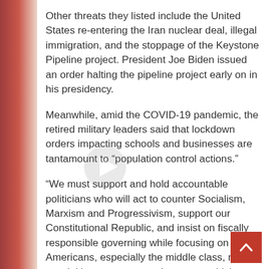Other threats they listed include the United States re-entering the Iran nuclear deal, illegal immigration, and the stoppage of the Keystone Pipeline project. President Joe Biden issued an order halting the pipeline project early on in his presidency.
Meanwhile, amid the COVID-19 pandemic, the retired military leaders said that lockdown orders impacting schools and businesses are tantamount to “population control actions.”
“We must support and hold accountable politicians who will act to counter Socialism, Marxism and Progressivism, support our Constitutional Republic, and insist on fiscally responsible governing while focusing on all Americans, especially the middle class, not special interest or extremist groups which are used to divide us into warring factions,” the letter added.
The letter concluded by urging “all citizens to get involved now at the local, state and/or national level to elect